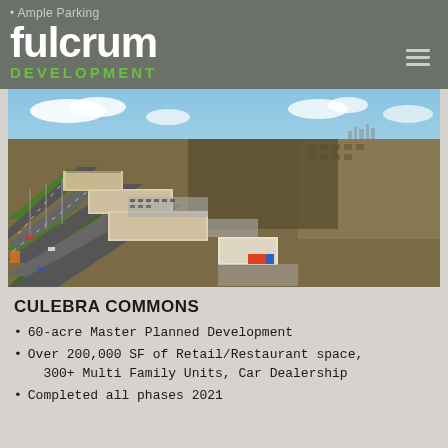Ample Parking
[Figure (logo): Fulcrum Development logo — white bold lowercase 'fulcrum' with green 'DEVELOPMENT' text below, on dark olive/grey background with hamburger menu icon]
[Figure (photo): Aerial drone photo of Culebra Commons retail development along a major highway in San Antonio, TX. Shows strip retail centers, parking lots, and car dealership surrounded by suburban neighborhood and undeveloped land.]
CULEBRA COMMONS
60-acre Master Planned Development
Over 200,000 SF of Retail/Restaurant space, 300+ Multi Family Units, Car Dealership
Completed all phases 2021